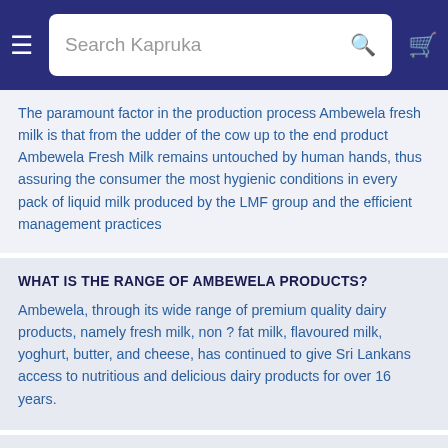Search Kapruka
The paramount factor in the production process Ambewela fresh milk is that from the udder of the cow up to the end product Ambewela Fresh Milk remains untouched by human hands, thus assuring the consumer the most hygienic conditions in every pack of liquid milk produced by the LMF group and the efficient management practices
WHAT IS THE RANGE OF AMBEWELA PRODUCTS?
Ambewela, through its wide range of premium quality dairy products, namely fresh milk, non ? fat milk, flavoured milk, yoghurt, butter, and cheese, has continued to give Sri Lankans access to nutritious and delicious dairy products for over 16 years.
WHAT IS THE SHELF LIFE OF AMBEWELA FRESH MILK?
The Ambewela Fresh Milk pack which is the market leader in liquid milk today has gone through the world renounced UHT